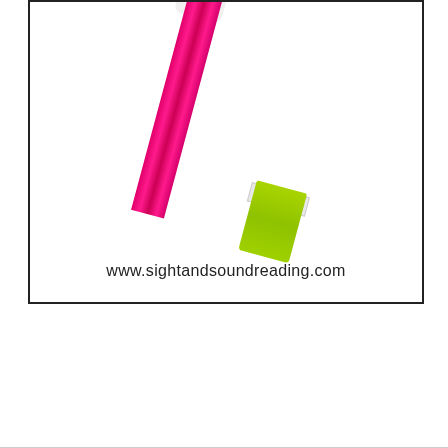[Figure (photo): A photo of a pink/magenta marker or pen with a green brush tip and white cap, positioned diagonally, with the website URL 'www.sightandsoundreading.com' printed at the bottom of the image. The image has a black border.]